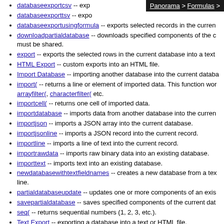Panorama > Formulas >
databaseexportcsv -- exp
databaseexporttsv -- expo
databaseexportusingformula -- exports selected records in the curren
downloadpartialdatabase -- downloads specified components of the c must be shared.
export -- exports the selected rows in the current database into a text
HTML Export -- custom exports into an HTML file.
Import Database -- importing another database into the current databa
import( -- returns a line or element of imported data. This function wor arrayfilter(, characterfilter( etc.
importcell( -- returns one cell of imported data.
importdatabase -- imports data from another database into the curren
importjson -- imports a JSON array into the current database.
importjsonline -- imports a JSON record into the current record.
importline -- imports a line of text into the current record.
importrawdata -- imports raw binary data into an existing database.
importtext -- imports text into an existing database.
newdatabasewithtextfieldnames -- creates a new database from a tex line.
partialdatabaseupdate -- updates one or more components of an exis
savepartialdatabase -- saves specified components of the current dat
seq( -- returns sequential numbers (1, 2, 3, etc.).
Text Export -- exporting a database into a text or HTML file.
Text Export Wizard -- custom exports into a text or HTML file.
Text Import -- importing text into an existing database.
tsvtojson( -- converts tab separated text into JSON formatted text.
History